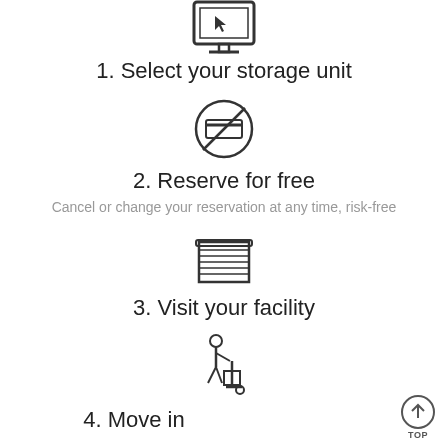[Figure (illustration): Icon of a computer monitor with a cursor/pointer on screen]
1. Select your storage unit
[Figure (illustration): Icon of a credit card with a prohibition/no symbol (circle with slash) over it]
2. Reserve for free
Cancel or change your reservation at any time, risk-free
[Figure (illustration): Icon of a storage unit garage door (roll-up door with horizontal slats)]
3. Visit your facility
[Figure (illustration): Icon of a person moving boxes on a hand truck/dolly]
4. Move in
[Figure (illustration): TOP button icon - circle with upward arrow and the word TOP below]